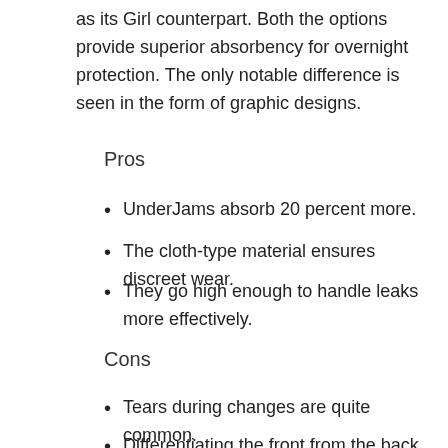as its Girl counterpart. Both the options provide superior absorbency for overnight protection. The only notable difference is seen in the form of graphic designs.
Pros
UnderJams absorb 20 percent more.
The cloth-type material ensures discreet wear.
They go high enough to handle leaks more effectively.
Cons
Tears during changes are quite common.
Differentiating the front from the back is